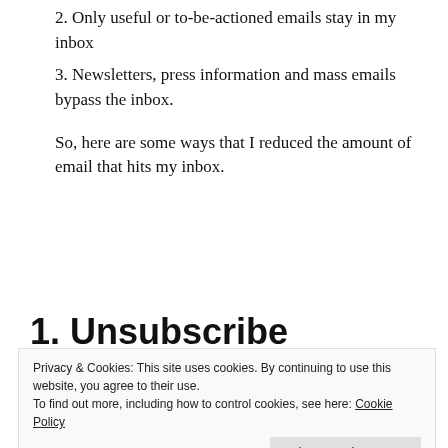2. Only useful or to-be-actioned emails stay in my inbox
3. Newsletters, press information and mass emails bypass the inbox.
So, here are some ways that I reduced the amount of email that hits my inbox.
1. Unsubscribe
Privacy & Cookies: This site uses cookies. By continuing to use this website, you agree to their use.
To find out more, including how to control cookies, see here: Cookie Policy
Close and accept
you didn't want, or even newsletters you thought you'd read but don't? Take half an hour to go through and unsubscribe from them, once and for all.